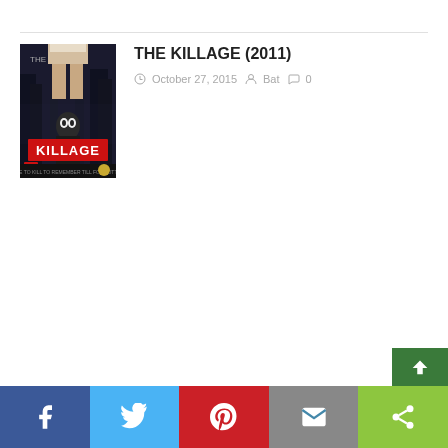[Figure (photo): DVD cover for The Killage (2011) horror movie]
THE KILLAGE (2011)
October 27, 2015   Bat   0
[Figure (infographic): Social sharing bar with Facebook, Twitter, Pinterest, Email, and Share buttons, plus a green back-to-top button]